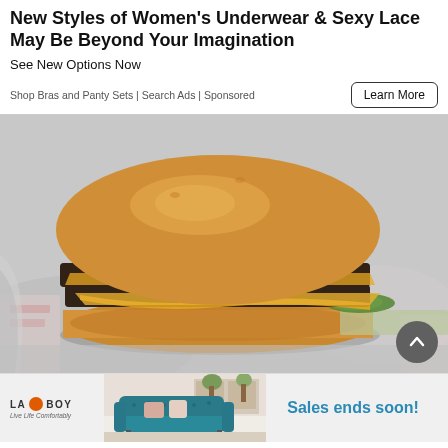New Styles of Women's Underwear & Sexy Lace May Be Beyond Your Imagination
See New Options Now
Shop Bras and Panty Sets | Search Ads | Sponsored
[Figure (photo): Close-up photo of a double cheeseburger with two beef patties, melted cheese, and a pickle, sitting on crinkled fast-food wrapper paper]
[Figure (photo): La-Z-Boy advertisement banner showing a teal/blue tufted sofa with text 'Sales ends soon!']